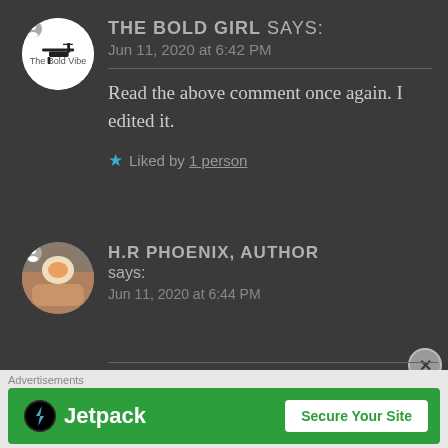THE BOLD GIRL says: Jun 11, 2020 at 6:42 PM
Read the above comment once again. I edited it.
★ Liked by 1 person
H.R PHOENIX, AUTHOR says: Jun 11, 2020 at 6:44 PM
[Figure (other): Jetpack advertisement banner with logo and Secure Your Site button]
Advertisements